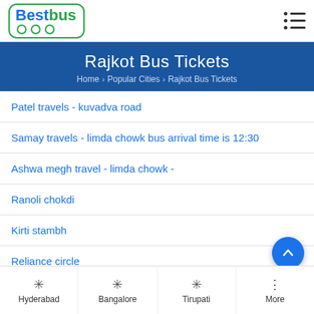BestBus
Rajkot Bus Tickets
Home > Popular Cities > Rajkot Bus Tickets
Patel travels - kuvadva road
Samay travels - limda chowk bus arrival time is 12:30
Ashwa megh travel - limda chowk -
Ranoli chokdi
Kirti stambh
Reliance circle
Tulshi dham (cross road)
Paddhari - by pass
Hyderabad  Bangalore  Tirupati  More